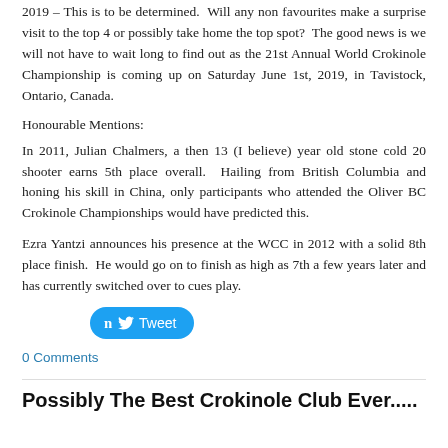2019 – This is to be determined.  Will any non favourites make a surprise visit to the top 4 or possibly take home the top spot?  The good news is we will not have to wait long to find out as the 21st Annual World Crokinole Championship is coming up on Saturday June 1st, 2019, in Tavistock, Ontario, Canada.
Honourable Mentions:
In 2011, Julian Chalmers, a then 13 (I believe) year old stone cold 20 shooter earns 5th place overall.  Hailing from British Columbia and honing his skill in China, only participants who attended the Oliver BC Crokinole Championships would have predicted this.
Ezra Yantzi announces his presence at the WCC in 2012 with a solid 8th place finish.  He would go on to finish as high as 7th a few years later and has currently switched over to cues play.
[Figure (other): Tweet button (Twitter share button)]
0 Comments
Possibly The Best Crokinole Club Ever.....